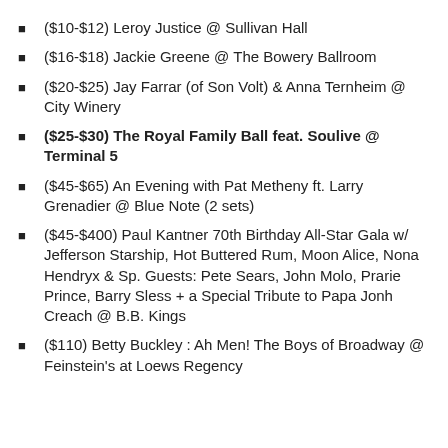($10-$12) Leroy Justice @ Sullivan Hall
($16-$18) Jackie Greene @ The Bowery Ballroom
($20-$25) Jay Farrar (of Son Volt) & Anna Ternheim @ City Winery
($25-$30) The Royal Family Ball feat. Soulive @ Terminal 5
($45-$65) An Evening with Pat Metheny ft. Larry Grenadier @ Blue Note (2 sets)
($45-$400) Paul Kantner 70th Birthday All-Star Gala w/ Jefferson Starship, Hot Buttered Rum, Moon Alice, Nona Hendryx & Sp. Guests: Pete Sears, John Molo, Prarie Prince, Barry Sless + a Special Tribute to Papa Jonh Creach @ B.B. Kings
($110) Betty Buckley : Ah Men! The Boys of Broadway @ Feinstein's at Loews Regency